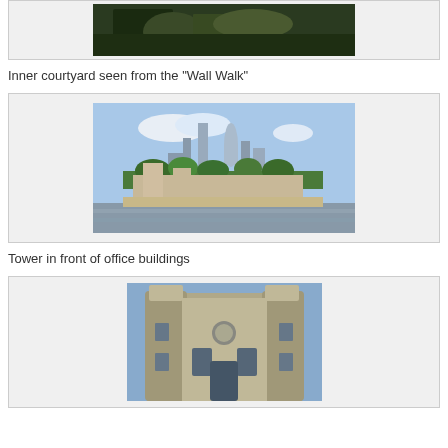[Figure (photo): Photo of two people with a dog or animal in a green outdoor courtyard area, dark toned image cropped at top]
Inner courtyard seen from the "Wall Walk"
[Figure (photo): Photo of the Tower of London seen from across the Thames river, with modern office buildings including the Gherkin visible behind trees in the background, under a blue sky]
Tower in front of office buildings
[Figure (photo): Photo of the Jewel House or gatehouse tower at the Tower of London, stone medieval castle facade with cylindrical towers and arched windows]